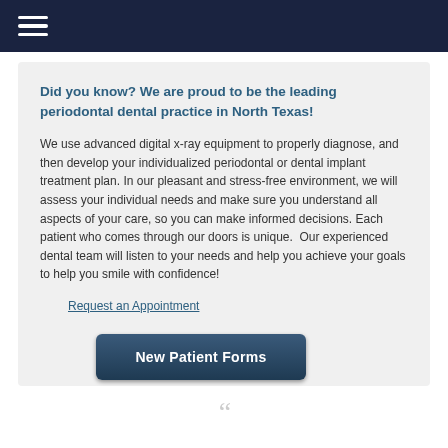Navigation bar with hamburger menu
Did you know? We are proud to be the leading periodontal dental practice in North Texas!
We use advanced digital x-ray equipment to properly diagnose, and then develop your individualized periodontal or dental implant treatment plan. In our pleasant and stress-free environment, we will assess your individual needs and make sure you understand all aspects of your care, so you can make informed decisions. Each patient who comes through our doors is unique.  Our experienced dental team will listen to your needs and help you achieve your goals to help you smile with confidence!
Request an Appointment
New Patient Forms